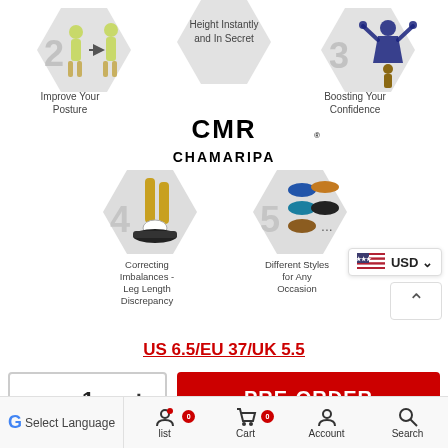[Figure (infographic): Hexagonal infographic panel showing 5 benefits of height-increasing shoes by CMR Chamaripa. Top row: Hex 2 - Improve Your Posture (two figures, arrow); center top hex - Height Instantly and In Secret (text only); Hex 3 - Boosting Your Confidence (figure flexing). Logo CMR CHAMARIPA in center. Bottom row: Hex 4 - Correcting Imbalances - Leg Length Discrepancy (leg/shoe graphic); Hex 5 - Different Styles for Any Occasion (multiple shoe images).]
US 6.5/EU 37/UK 5.5
- 1 +
PRE-ORDER
Select Language  list  Cart  Account  Search